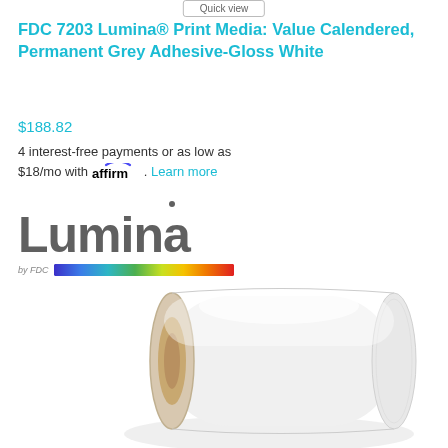Quick view
FDC 7203 Lumina® Print Media: Value Calendered, Permanent Grey Adhesive-Gloss White
$188.82
4 interest-free payments or as low as $18/mo with affirm. Learn more
[Figure (logo): Lumina by FDC logo with rainbow gradient bar]
[Figure (photo): Roll of white Lumina print media vinyl with cardboard core visible]